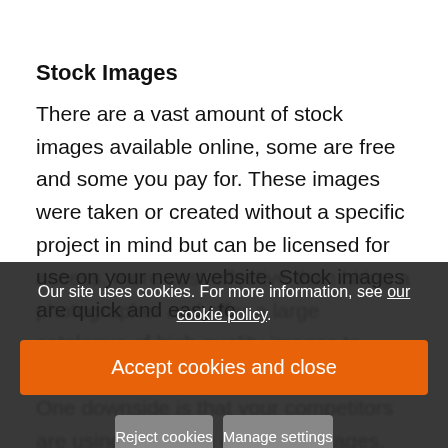Stock Images
There are a vast amount of stock images available online, some are free and some you pay for. These images were taken or created without a specific project in mind but can be licensed for use on your new website. Stock images are quick and easy to access, more cost effective than hiring a photographer and offer a large catalogue of high-quality images to choose from, you're spoilt for choice. One downside is that your competitors are using the same or similar images, meaning your business may not appear as unique
Our site uses cookies. For more information, see our cookie policy.
Accept cookies and close
Reject cookies
Manage settings